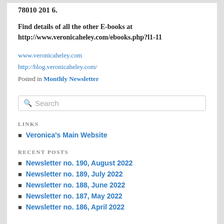78010 201 6.
Find details of all the other E-books at http://www.veronicaheley.com/ebooks.php?l1-11
www.veronicaheley.com
http://blog.veronicaheley.com/
Posted in Monthly Newsletter
Search
LINKS
Veronica's Main Website
RECENT POSTS
Newsletter no. 190, August 2022
Newsletter no. 189, July 2022
Newsletter no. 188, June 2022
Newsletter no. 187, May 2022
Newsletter no. 186, April 2022